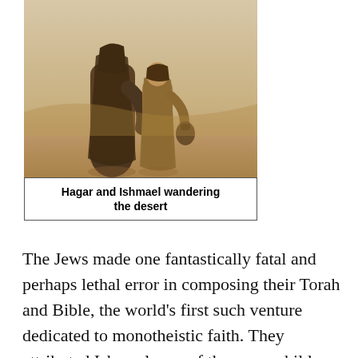[Figure (illustration): Painting of Hagar and Ishmael wandering the desert — two robed figures walking on sandy ground]
Hagar and Ishmael wandering the desert
The Jews made one fantastically fatal and perhaps lethal error in composing their Torah and Bible, the world's first such venture dedicated to monotheistic faith. They attributed Ishmael, one of the many children of the patriarch Abraham, to be the first male of the Arab race. Historically and ethnically this is of course wrong - Arab tribes were long separate from the Hebrews. But it has been seized by the Arabs and the very bad writers of the